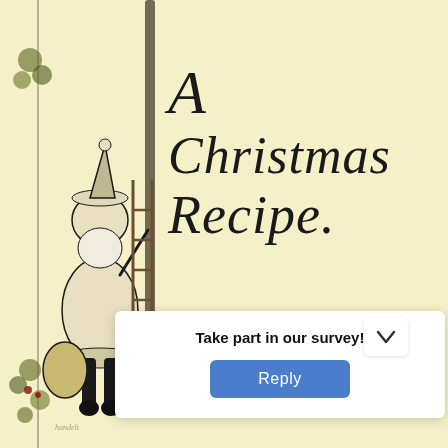[Figure (illustration): Vintage black-and-white ink illustration of Santa Claus climbing a ladder next to a tree, wearing a fur-trimmed coat and hat, with a sack of gifts, surrounded by decorative foliage border on the left side of the page. Background is pale yellow/cream.]
A Christmas Recipe.
Take part in our survey!
Reply